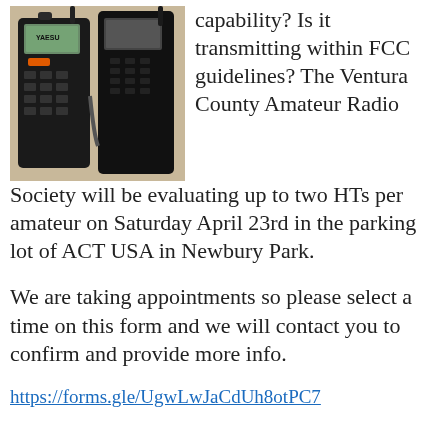[Figure (photo): Two handheld amateur radio transceivers (HTs) side by side on a surface — a Yaesu on the left and another radio on the right.]
capability? Is it transmitting within FCC guidelines? The Ventura County Amateur Radio Society will be evaluating up to two HTs per amateur on Saturday April 23rd in the parking lot of ACT USA in Newbury Park.
We are taking appointments so please select a time on this form and we will contact you to confirm and provide more info.
https://forms.gle/UgwLwJaCdUh8otPC7